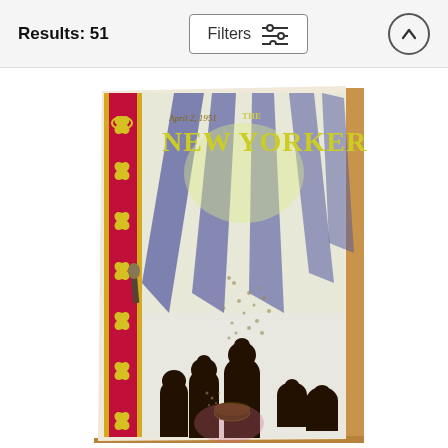Results: 51
[Figure (screenshot): Filters button with slider icon]
[Figure (screenshot): Up arrow button circle]
[Figure (illustration): The New Yorker magazine cover from April 2, 1951, shown as a wooden art board print. The cover depicts silhouettes of audience members watching a performance with dramatic spotlight beams. The cover has a decorative red and yellow border on the left side and shows 'The New Yorker' in yellow lettering.]